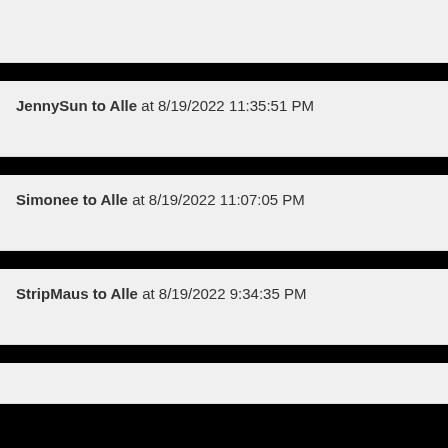JennySun to Alle at 8/19/2022 11:35:51 PM
Simonee to Alle at 8/19/2022 11:07:05 PM
StripMaus to Alle at 8/19/2022 9:34:35 PM